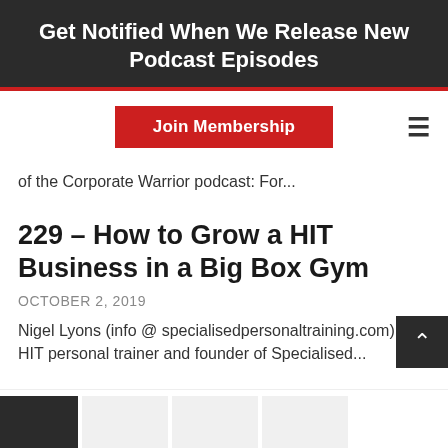Get Notified When We Release New Podcast Episodes
[Figure (screenshot): Red 'Join Membership' button with hamburger menu icon on right, navigation bar with red top border]
of the Corporate Warrior podcast: For...
229 – How to Grow a HIT Business in a Big Box Gym
OCTOBER 2, 2019
Nigel Lyons (info @ specialisedpersonaltraining.com) is a HIT personal trainer and founder of Specialised...
[Figure (screenshot): Bottom thumbnail strip with dark and light image placeholders]